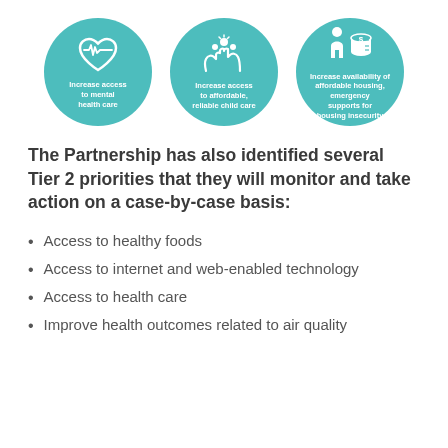[Figure (infographic): Three teal circular icons side by side. Left: heart with EKG line icon, labeled 'Increase access to mental health care'. Center: hands holding people/flower icon, labeled 'Increase access to affordable, reliable child care'. Right: person with dollar sign and stacked coins icon, labeled 'Increase availability of affordable housing, emergency supports for housing insecurity'.]
The Partnership has also identified several Tier 2 priorities that they will monitor and take action on a case-by-case basis:
Access to healthy foods
Access to internet and web-enabled technology
Access to health care
Improve health outcomes related to air quality